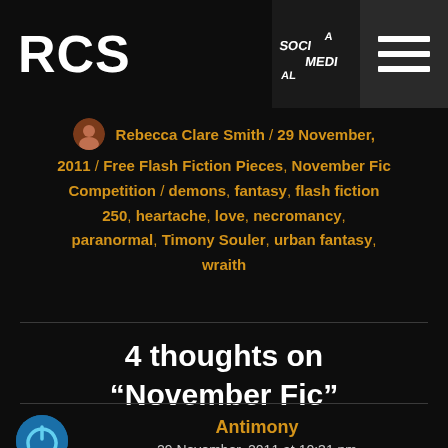RCS
Rebecca Clare Smith / 29 November, 2011 / Free Flash Fiction Pieces, November Fic Competition / demons, fantasy, flash fiction 250, heartache, love, necromancy, paranormal, Timony Souler, urban fantasy, wraith
4 thoughts on “November Fic”
Antimony
29 November, 2011 at 10:31 pm